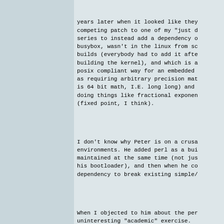years later when it looked like they competing patch to one of my "just d series to instead add a dependency o busybox, wasn't in the linux from sc builds (everybody had to add it afte building the kernel), and which is a posix compliant way for an embedded as requiring arbitrary precision mat is 64 bit math, I.E. long long) and doing things like fractional exponen (fixed point, I think).
I don't know why Peter is on a crusa environments. He added perl as a bui maintained at the same time (not jus his bootloader), and then when he co dependency to break existing simple/
When I objected to him about the per uninteresting "academic" exercise. (https://lkml.org/lkml/2008/2/15/548 environment totally has no real worl
http://www.kith.org/journals/jed/201
Yup, none at all. Snowden proved tha one-off, it's not like there was Man Felt before him...)
Sigh. Don't mind me, I'll update my